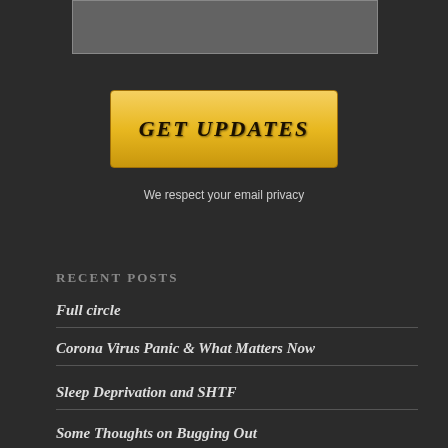[Figure (other): Input field / text box placeholder at top]
[Figure (other): GET UPDATES button with gold gradient background]
We respect your email privacy
RECENT POSTS
Full circle
Corona Virus Panic & What Matters Now
Sleep Deprivation and SHTF
Some Thoughts on Bugging Out